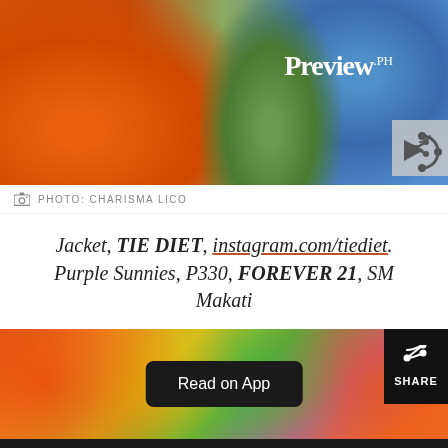[Figure (photo): Fashion photo showing colorful clothing, orange fabric on left and teal/blue patterned fabric on right, with Preview.ph logo overlay and share arrow button]
PHOTO: CHARISMA LICO
Jacket, TIE DIET, instagram.com/tiediet. Purple Sunnies, P330, FOREVER 21, SM Makati
[Figure (photo): Tie-dye fabric background in bright swirling colors (orange, yellow, green, purple) with a 'Read on App' button overlay and Share button on the right]
We use cookies to ensure you get the best experience on Preview.ph. By continued use, you agree to our privacy policy and accept our use of such cookies. Find out more here.
I AGREE
I DISAGREE